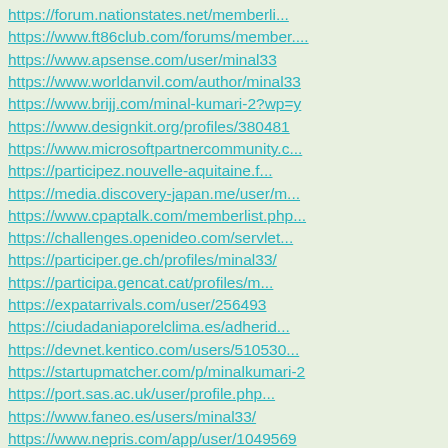https://forum.nationstates.net/memberli...
https://www.ft86club.com/forums/member....
https://www.apsense.com/user/minal33
https://www.worldanvil.com/author/minal33
https://www.brijj.com/minal-kumari-2?wp=y
https://www.designkit.org/profiles/380481
https://www.microsoftpartnercommunity.c...
https://participez.nouvelle-aquitaine.f...
https://media.discovery-japan.me/user/m...
https://www.cpaptalk.com/memberlist.php...
https://challenges.openideo.com/servlet...
https://participer.ge.ch/profiles/minal33/
https://participa.gencat.cat/profiles/m...
https://expatarrivals.com/user/256493
https://ciudadaniaporelclima.es/adherid...
https://devnet.kentico.com/users/510530...
https://startupmatcher.com/p/minalkumari-2
https://port.sas.ac.uk/user/profile.php...
https://www.faneo.es/users/minal33/
https://www.nepris.com/app/user/1049569
https://www.freecodecamp.org/fccc5b8d31...
https://www.kadenze.com/users/minal-chart
https://www.tripadvisor.com/Profile/min...